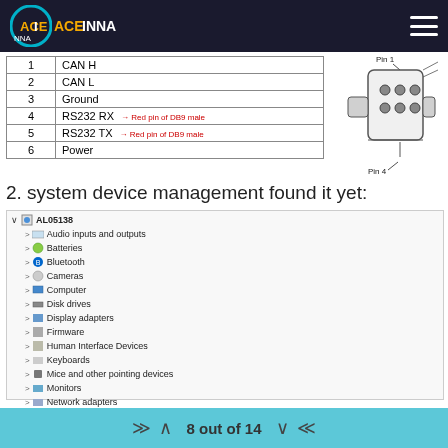ACEINNA
| Pin | Signal |
| --- | --- |
| 1 | CAN H |
| 2 | CAN L |
| 3 | Ground |
| 4 | RS232 RX [red pin of DB9 male] |
| 5 | RS232 TX [red pin of DB9 male] |
| 6 | Power |
[Figure (engineering-diagram): Connector diagram showing pin layout with Pin 1 and Pin 4 labels]
2. system device management found it yet:
[Figure (screenshot): Windows Device Manager showing device tree with AL05138 node expanded, including Ports (COM & LPT) with Prolific USB-to-Serial Comm Port (COM6) highlighted in red box, and red annotation '300RI found yet']
8 out of 14